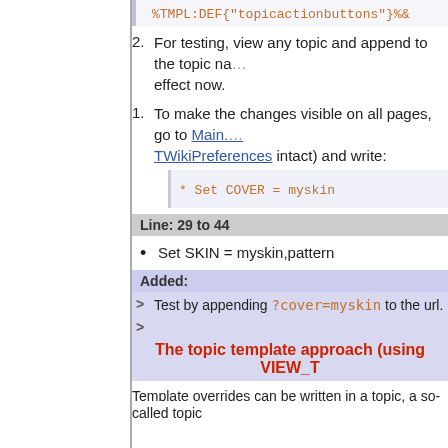[Figure (screenshot): Code snippet showing %TMPL:DEF{"topicactionbuttons"}%]
2. For testing, view any topic and append to the topic name... effect now.
1. To make the changes visible on all pages, go to Main.TWikiPreferences intact) and write:
[Figure (screenshot): Code block: * Set COVER = myskin]
Line: 29 to 44
Set SKIN = myskin,pattern
Added:
> Test by appending ?cover=myskin to the url.
>
The topic template approach (using VIEW_T
Template overrides can be written in a topic, a so-called topic